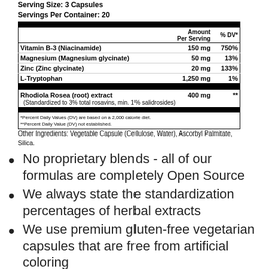|  | Amount Per Serving | % DV* |
| --- | --- | --- |
| Vitamin B-3 (Niacinamide) | 150 mg | 750% |
| Magnesium (Magnesium glycinate) | 50 mg | 13% |
| Zinc (Zinc glycinate) | 20 mg | 133% |
| L-Tryptophan | 1,250 mg | 1% |
| Rhodiola Rosea (root) extract | 400 mg | ** |
| (Standardized to 3% total rosavins, min. 1% salidrosides) |  |  |
*Percent Daily Values (DV) are based on a 2,000 calorie diet.
**Percent Daily Value (DV) not established.
Other Ingredients: Vegetable Capsule (Cellulose, Water), Ascorbyl Palmitate, Silica.
No proprietary blends - all of our formulas are completely Open Source
We always state the standardization percentages of herbal extracts
We use premium gluten-free vegetarian capsules that are free from artificial coloring